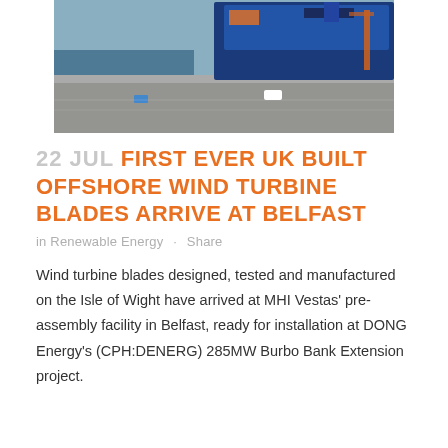[Figure (photo): Aerial view of a large blue ship docked at a port/quay, with dock infrastructure and vehicles visible from above.]
22 JUL FIRST EVER UK BUILT OFFSHORE WIND TURBINE BLADES ARRIVE AT BELFAST
in Renewable Energy · Share
Wind turbine blades designed, tested and manufactured on the Isle of Wight have arrived at MHI Vestas' pre-assembly facility in Belfast, ready for installation at DONG Energy's (CPH:DENERG) 285MW Burbo Bank Extension project.